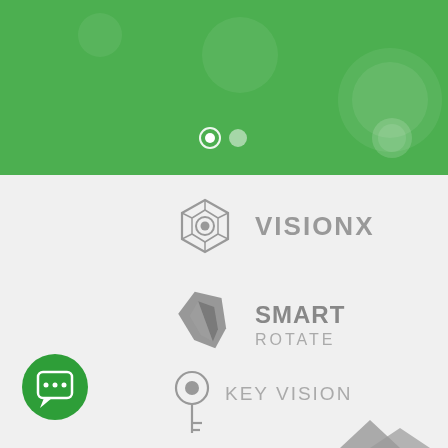[Figure (screenshot): Green header banner with decorative circles and carousel navigation dots (one filled, one outlined)]
[Figure (logo): VisionX logo — hexagonal eye icon in outline style with 'VISIONX' text in grey]
[Figure (logo): Smart Rotate logo — stylized dark grey angular shield/rotate icon with 'SMART ROTATE' text]
[Figure (logo): Key Vision logo — key with circular eye at top in grey with 'KEY VISION' text]
[Figure (logo): Partially visible logo at bottom right corner, grey angular/mountain shape]
[Figure (illustration): Green circle chat button with speech bubble icon in bottom left corner]